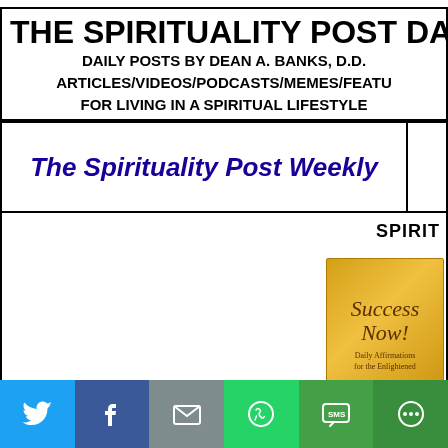THE SPIRITUALITY POST DA
DAILY POSTS BY DEAN A. BANKS, D.D.
ARTICLES/VIDEOS/PODCASTS/MEMES/FEATU
FOR LIVING IN A SPIRITUAL LIFESTYLE
The Spirituality Post Weekly
SPIRIT
[Figure (photo): Gold book cover with cursive text reading 'Success Now' and small subtitle text]
Social share bar: Twitter, Facebook, Email, WhatsApp, SMS, More